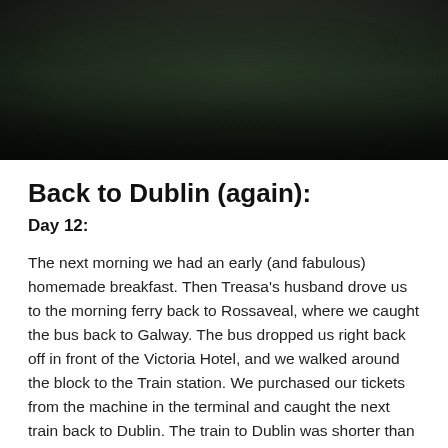[Figure (photo): Dark landscape photograph showing fields and vegetation with low light, likely taken at dusk or in overcast conditions. The scene appears to show Irish countryside with dark tones throughout.]
Back to Dublin (again):
Day 12:
The next morning we had an early (and fabulous) homemade breakfast. Then Treasa's husband drove us to the morning ferry back to Rossaveal, where we caught the bus back to Galway. The bus dropped us right back off in front of the Victoria Hotel, and we walked around the block to the Train station. We purchased our tickets from the machine in the terminal and caught the next train back to Dublin. The train to Dublin was shorter than we expected, and a pleasant ride. We